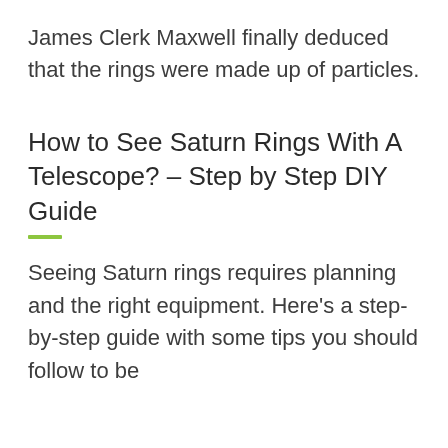James Clerk Maxwell finally deduced that the rings were made up of particles.
How to See Saturn Rings With A Telescope? – Step by Step DIY Guide
Seeing Saturn rings requires planning and the right equipment. Here's a step-by-step guide with some tips you should follow to be